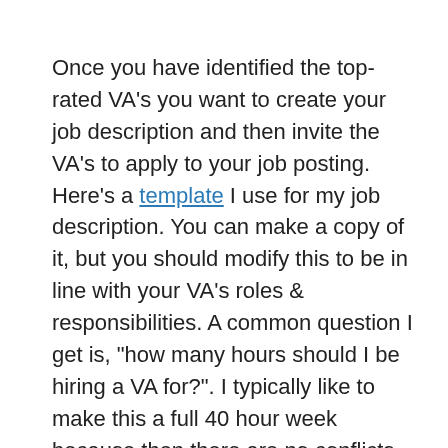Once you have identified the top-rated VA's you want to create your job description and then invite the VA's to apply to your job posting. Here's a template I use for my job description. You can make a copy of it, but you should modify this to be in line with your VA's roles & responsibilities. A common question I get is, "how many hours should I be hiring a VA for?". I typically like to make this a full 40 hour week because then there are no conflicts and I know this person is always working for me. However, in the beginning you can maybe start them off with 10-20 hours a week. I do recommend ultimately transitioning this person to full-time. It makes them feel more secure that they have a full-time job and you know that they are fully committed to working